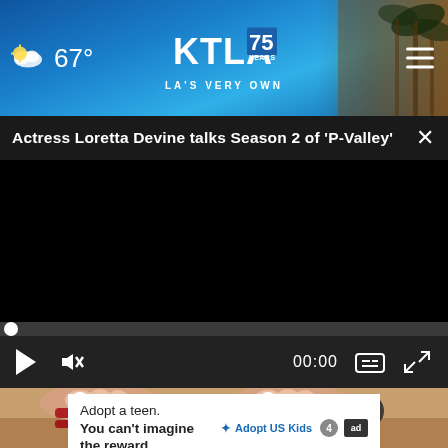67° KTLA 75 YEARS LA'S VERY OWN
Actress Loretta Devine talks Season 2 of 'P-Valley'
[Figure (screenshot): Video player showing a black screen with playback controls: play button, mute button, timestamp 00:00, captions button, and fullscreen button. A progress bar with a white dot at the start appears above the controls.]
[Figure (photo): Close-up photo of feet wearing red sandals on a sandy/stone surface, partially visible at the bottom of the screen.]
Adopt a teen. You can't imagine the reward.
[Figure (logo): Adopt US Kids logo and ad badge icons]